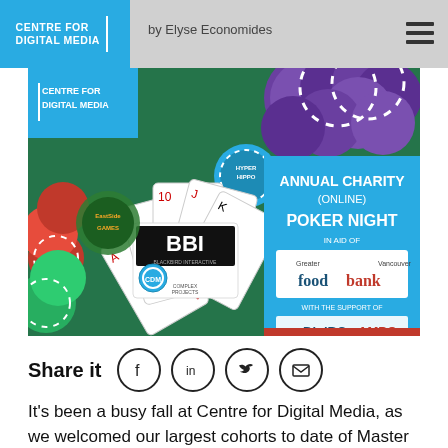by Elyse Economides
[Figure (photo): Annual Charity (Online) Poker Night event poster for Centre for Digital Media, showing poker cards and casino chips on a green felt table. Sponsors include Hyper Hippo, EastSide Games, Blackbird Interactive, Complex Projects, Greater Vancouver Food Bank, DigiBC, and AMPO.]
Share it
It's been a busy fall at Centre for Digital Media, as we welcomed our largest cohorts to date of Master